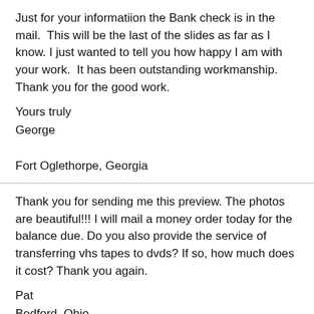Just for your informatiion the Bank check is in the mail.  This will be the last of the slides as far as I know. I just wanted to tell you how happy I am with your work.  It has been outstanding workmanship.  Thank you for the good work.

Yours truly
George

Fort Oglethorpe, Georgia
Thank you for sending me this preview. The photos are beautiful!!! I will mail a money order today for the balance due. Do you also provide the service of transferring vhs tapes to dvds? If so, how much does it cost? Thank you again.
Pat
Bedford, Ohio
Thanks so much for your amazing turn around on my request for the 10 free scans. I was amazed to